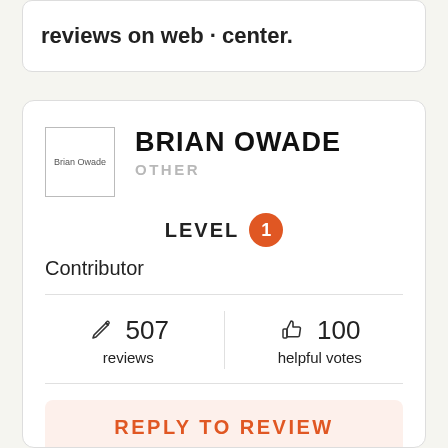reviews on web · center.
[Figure (screenshot): Brian Owade profile avatar placeholder image]
BRIAN OWADE
OTHER
LEVEL 1
Contributor
507 reviews
100 helpful votes
REPLY TO REVIEW